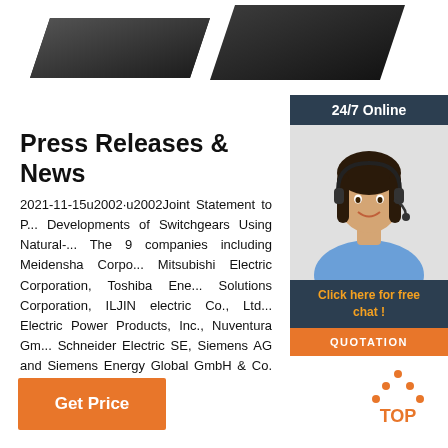[Figure (photo): Two dark gray/black panel-shaped switchgear or industrial equipment pieces shown at an angle against white background]
[Figure (photo): 24/7 Online chat widget with a female customer service agent wearing a headset, with 'Click here for free chat!' text and orange QUOTATION button]
Press Releases & News
2021-11-15u2002·u2002Joint Statement to Promote Developments of Switchgears Using Natural-... The 9 companies including Meidensha Corporation, Mitsubishi Electric Corporation, Toshiba Energy Solutions Corporation, ILJIN electric Co., Ltd., Electric Power Products, Inc., Nuventura GmbH, Schneider Electric SE, Siemens AG and Siemens Energy Global GmbH & Co. KG have announc...
[Figure (other): Orange 'Get Price' button]
[Figure (other): Orange 'TOP' icon with dotted triangle pointing up]